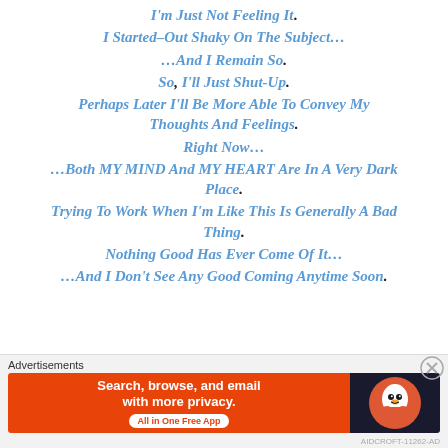I'm Just Not Feeling It.
I Started–Out Shaky On The Subject…
…And I Remain So.
So, I'll Just Shut-Up.
Perhaps Later I'll Be More Able To Convey My Thoughts And Feelings.
Right Now…
…Both MY MIND And MY HEART Are In A Very Dark Place.
Trying To Work When I'm Like This Is Generally A Bad Thing.
Nothing Good Has Ever Come Of It…
…And I Don't See Any Good Coming Anytime Soon.
[Figure (infographic): DuckDuckGo advertisement banner: orange left side with text 'Search, browse, and email with more privacy. All in One Free App', dark right side with DuckDuckGo duck logo.]
Advertisements